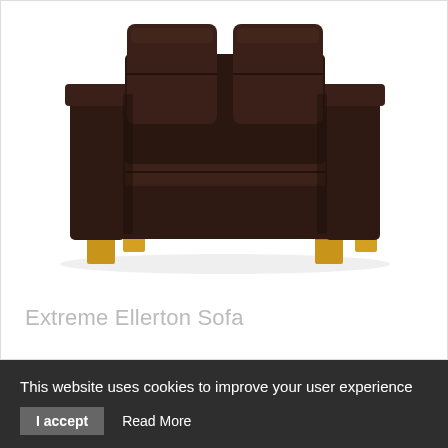[Figure (photo): Dark brown leather sofa (Extreme Ellerton Sofa) with wooden legs, photographed on a white background. The sofa has square arms, cushioned back, and light oak block feet.]
Extreme Ellerton Sofa
This website uses cookies to improve your user experience
I accept   Read More